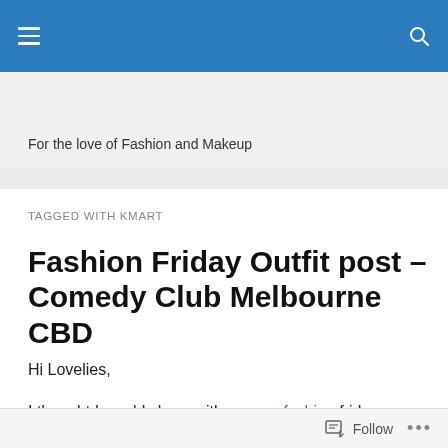Navigation bar with hamburger menu and search icon
For the love of Fashion and Makeup
TAGGED WITH KMART
Fashion Friday Outfit post – Comedy Club Melbourne CBD
Hi Lovelies,
I thought I would share with you my fashion friday, outfit
Follow ...